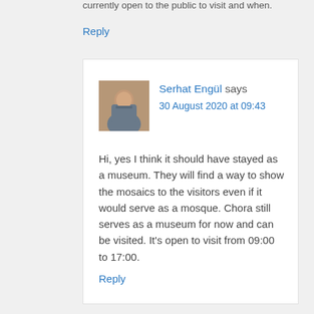currently open to the public to visit and when.
Reply
Serhat Engül says
30 August 2020 at 09:43
Hi, yes I think it should have stayed as a museum. They will find a way to show the mosaics to the visitors even if it would serve as a mosque. Chora still serves as a museum for now and can be visited. It's open to visit from 09:00 to 17:00.
Reply